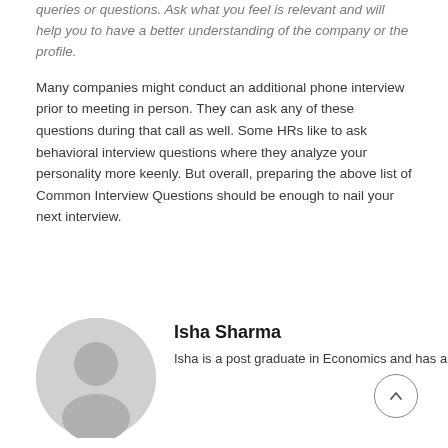queries or questions. Ask what you feel is relevant and will help you to have a better understanding of the company or the profile.
Many companies might conduct an additional phone interview prior to meeting in person. They can ask any of these questions during that call as well. Some HRs like to ask behavioral interview questions where they analyze your personality more keenly. But overall, preparing the above list of Common Interview Questions should be enough to nail your next interview.
Isha Sharma
Isha is a post graduate in Economics and has a